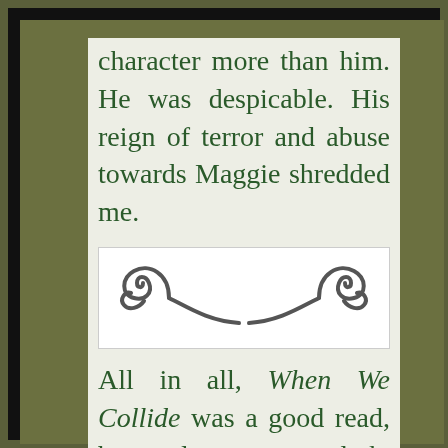character more than him. He was despicable. His reign of terror and abuse towards Maggie shredded me.
[Figure (illustration): Decorative flourish/divider ornament with two curled swirls on a white background]
All in all, When We Collide was a good read, but also very dark, intense and